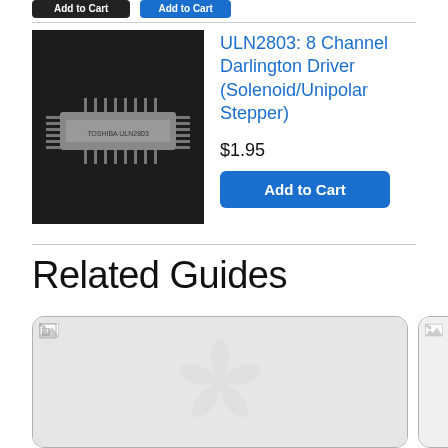[Figure (screenshot): Top bar showing two buttons: a dark 'Add to Cart' style button and a blue button, partially visible at top of page]
[Figure (photo): Black and white photo of a ULN2803 DIP IC chip on dark background]
ULN2803: 8 Channel Darlington Driver (Solenoid/Unipolar Stepper)
$1.95
Add to Cart
Related Guides
[Figure (screenshot): Guide card with broken image icon and Adafruit logo placeholder in gray area]
[Figure (screenshot): Partially visible second guide card at right edge]